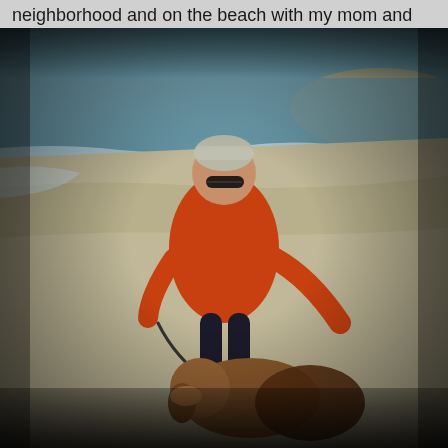neighborhood and on the beach with my mom and Sam.
[Figure (photo): A woman wearing a gray beanie, sunglasses, and an orange long-sleeve shirt walks a golden retriever dog on a leash on a sandy beach. The ocean and sandy shore are visible in the background. The image has a dark vignette overlay.]